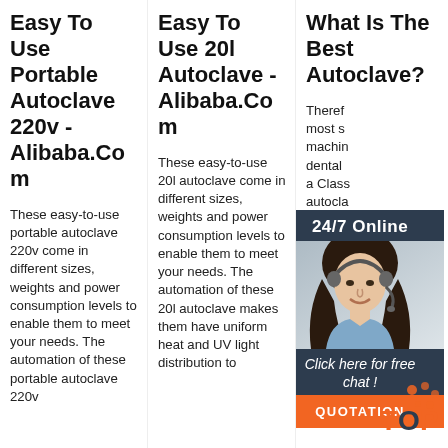Easy To Use Portable Autoclave 220v - Alibaba.Com
These easy-to-use portable autoclave 220v come in different sizes, weights and power consumption levels to enable them to meet your needs. The automation of these portable autoclave 220v
Easy To Use 20l Autoclave - Alibaba.Com
These easy-to-use 20l autoclave come in different sizes, weights and power consumption levels to enable them to meet your needs. The automation of these 20l autoclave makes them have uniform heat and UV light distribution to
What Is The Best Autoclave?
Therefore most s... machin dental a Class: autocla becaus greater and is a wide setting they are small, Class B autoclaves can offer outstanding performance, unbeatable efficiency and the
[Figure (infographic): Chat support overlay: dark blue panel with '24/7 Online' header, photo of smiling woman with headset, 'Click here for free chat!' text, and orange QUOTATION button. TOP logo in bottom right.]